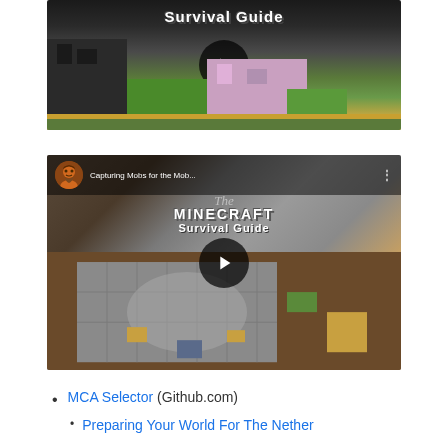[Figure (screenshot): Minecraft Survival Guide YouTube video thumbnail (partially cropped), showing Minecraft buildings with 'Survival Guide' text overlay and play button]
[Figure (screenshot): YouTube video thumbnail for 'Capturing Mobs for the Mob...' - The Minecraft Survival Guide, showing overhead view of stone-tile area with play button and channel icon]
MCA Selector (Github.com)
Preparing Your World For The Nether